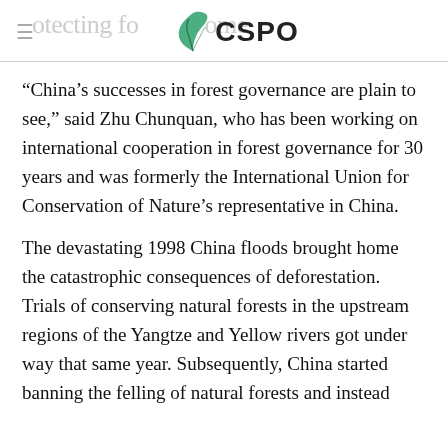Protecting forests CSPO home
“China’s successes in forest governance are plain to see,” said Zhu Chunquan, who has been working on international cooperation in forest governance for 30 years and was formerly the International Union for Conservation of Nature’s representative in China.
The devastating 1998 China floods brought home the catastrophic consequences of deforestation. Trials of conserving natural forests in the upstream regions of the Yangtze and Yellow rivers got under way that same year. Subsequently, China started banning the felling of natural forests and instead